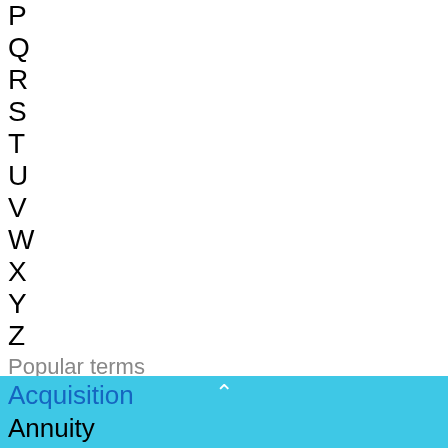P
Q
R
S
T
U
V
W
X
Y
Z
Popular terms
Amortization
Equity
Notary Public
Progression/Regression
Acquisition
Annuity